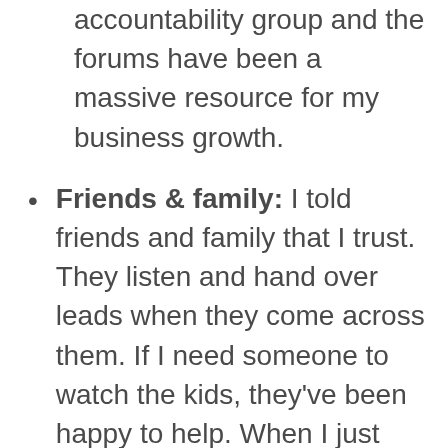accountability group and the forums have been a massive resource for my business growth.
Friends & family: I told friends and family that I trust. They listen and hand over leads when they come across them. If I need someone to watch the kids, they've been happy to help. When I just want someone to say “Wow, you’re doing amazing!” I can *usually* count on them.
Therapist: For the times when you need an objective third party to hear you out, get a therapist. I've seen a therapist for more than ten years. Having a professional who can give you a birds-eye view of things can help you